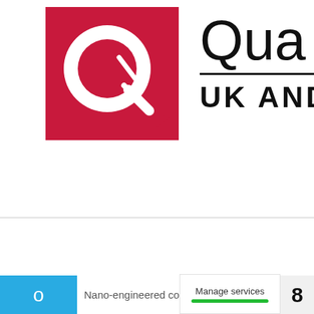[Figure (logo): Quartz Network logo: a red square with white Q letterform and diagonal slash, followed by partial brand name text 'Qua' and 'UK AND' on the right side]
Functional materials
Nano-engineered coatings and thin films: from design
[Figure (screenshot): Manage services overlay with green progress bar and number badge 8]